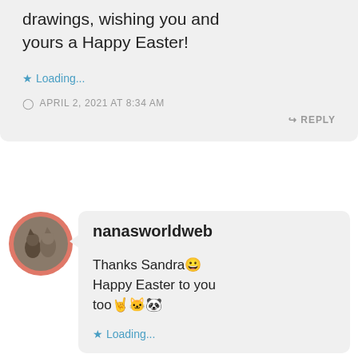drawings, wishing you and yours a Happy Easter!
Loading...
APRIL 2, 2021 AT 8:34 AM
REPLY
[Figure (photo): User avatar showing cats, circular cropped with salmon/coral border]
nanasworldweb
Thanks Sandra😀 Happy Easter to you too🤗🐱🐼
Loading...